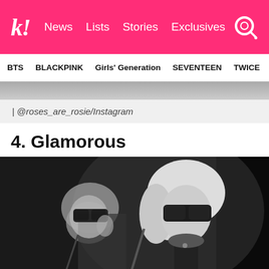k! News Lists Stories Exclusives
BTS BLACKPINK Girls' Generation SEVENTEEN TWICE
| @roses_are_rosie/Instagram
4. Glamorous
[Figure (photo): Black and white photo of a person with blonde hair and dark sunglasses, shown from two angles, against a dark background]